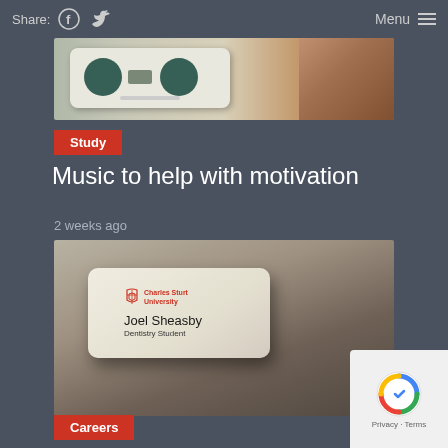Share: [Facebook] [Twitter]   Menu
[Figure (photo): Photo of a retro boombox radio and a sneaker/shoe, partially visible]
Study
Music to help with motivation
2 weeks ago
[Figure (photo): Photo of a Charles Sturt University name badge for Joel Sheasby, Dentistry Student, on a beige/brown surface]
Careers